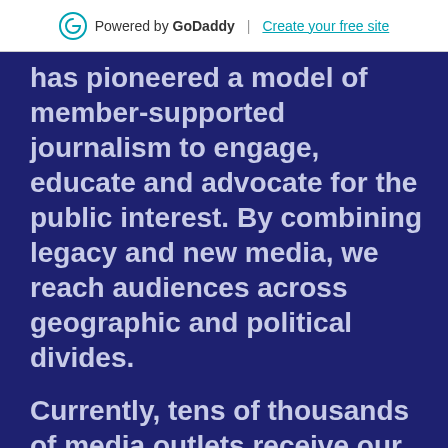Powered by GoDaddy | Create your free site
has pioneered a model of member-supported journalism to engage, educate and advocate for the public interest. By combining legacy and new media, we reach audiences across geographic and political divides.

Currently, tens of thousands of media outlets receive our content and more than 6,000 nationally are regularly using our stories.